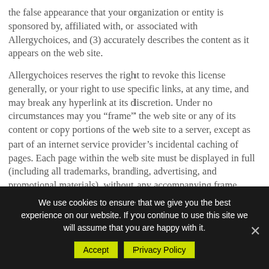the false appearance that your organization or entity is sponsored by, affiliated with, or associated with Allergychoices, and (3) accurately describes the content as it appears on the web site.
Allergychoices reserves the right to revoke this license generally, or your right to use specific links, at any time, and may break any hyperlink at its discretion. Under no circumstances may you “frame” the web site or any of its content or copy portions of the web site to a server, except as part of an internet service provider’s incidental caching of pages. Each page within the web site must be displayed in full (including all trademarks, branding, advertising, and promotional materials), without any accompanying frame,
We use cookies to ensure that we give you the best experience on our website. If you continue to use this site we will assume that you are happy with it.